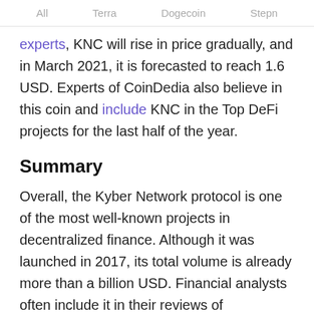All   Terra   Dogecoin   Stepn
experts, KNC will rise in price gradually, and in March 2021, it is forecasted to reach 1.6 USD. Experts of CoinDedia also believe in this coin and include KNC in the Top DeFi projects for the last half of the year.
Summary
Overall, the Kyber Network protocol is one of the most well-known projects in decentralized finance. Although it was launched in 2017, its total volume is already more than a billion USD. Financial analysts often include it in their reviews of